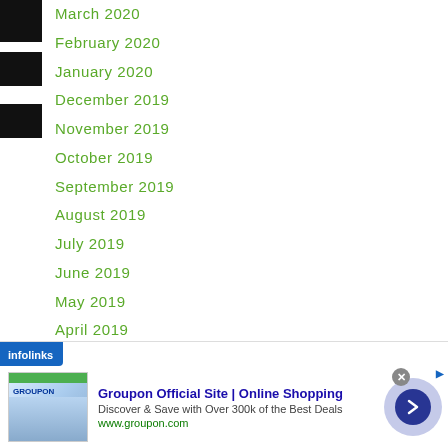March 2020
February 2020
January 2020
December 2019
November 2019
October 2019
September 2019
August 2019
July 2019
June 2019
May 2019
April 2019
March 2019
February 2019
January 2019
December 2018
[Figure (screenshot): Infolinks advertisement banner for Groupon Official Site: Online Shopping. Discover & Save with Over 300k of the Best Deals. www.groupon.com]